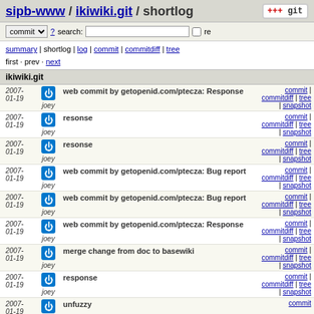sipb-www / ikiwiki.git / shortlog
commit ? search: re
summary | shortlog | log | commit | commitdiff | tree
first · prev · next
ikiwiki.git
| date | author | message | links |
| --- | --- | --- | --- |
| 2007-01-19 | joey | web commit by getopenid.com/ptecza: Response | commit | commitdiff | tree | snapshot |
| 2007-01-19 | joey | resonse | commit | commitdiff | tree | snapshot |
| 2007-01-19 | joey | resonse | commit | commitdiff | tree | snapshot |
| 2007-01-19 | joey | web commit by getopenid.com/ptecza: Bug report | commit | commitdiff | tree | snapshot |
| 2007-01-19 | joey | web commit by getopenid.com/ptecza: Bug report | commit | commitdiff | tree | snapshot |
| 2007-01-19 | joey | web commit by getopenid.com/ptecza: Response | commit | commitdiff | tree | snapshot |
| 2007-01-19 | joey | merge change from doc to basewiki | commit | commitdiff | tree | snapshot |
| 2007-01-19 | joey | response | commit | commitdiff | tree | snapshot |
| 2007-01-19 | joey | unfuzzy | commit |